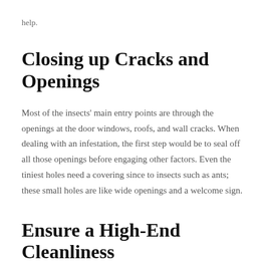help.
Closing up Cracks and Openings
Most of the insects' main entry points are through the openings at the door windows, roofs, and wall cracks. When dealing with an infestation, the first step would be to seal off all those openings before engaging other factors. Even the tiniest holes need a covering since to insects such as ants; these small holes are like wide openings and a welcome sign.
Ensure a High-End Cleanliness